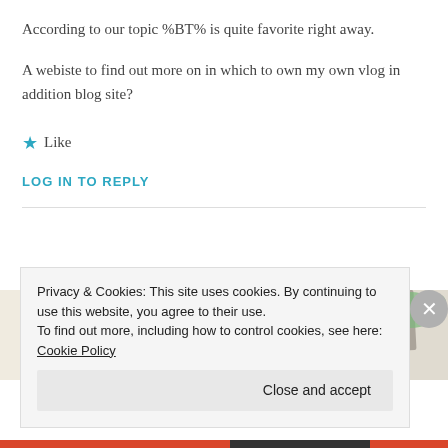According to our topic %BT% is quite favorite right away.
A webiste to find out more on in which to own my own vlog in addition blog site?
★ Like
LOG IN TO REPLY
[Figure (photo): Partial view of a food blog photo strip with cookbook-style images of food dishes and a circular avatar icon]
Privacy & Cookies: This site uses cookies. By continuing to use this website, you agree to their use.
To find out more, including how to control cookies, see here: Cookie Policy
Close and accept